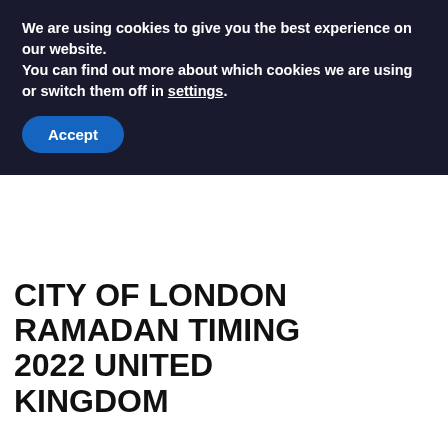We are using cookies to give you the best experience on our website.
You can find out more about which cookies we are using or switch them off in settings.
Accept
CITY OF LONDON RAMADAN TIMING 2022 UNITED KINGDOM
[Figure (other): Gold circular scroll-to-top button with upward chevron arrow]
[Figure (other): AvidXchange advertisement banner: logo on green/blue gradient background with text 'Robust purchase-to-pay']